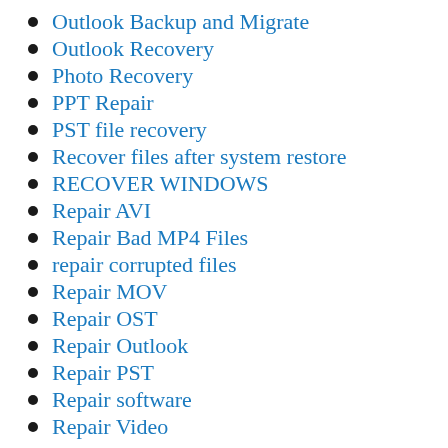Outlook Backup and Migrate
Outlook Recovery
Photo Recovery
PPT Repair
PST file recovery
Recover files after system restore
RECOVER WINDOWS
Repair AVI
Repair Bad MP4 Files
repair corrupted files
Repair MOV
Repair OST
Repair Outlook
Repair PST
Repair software
Repair Video